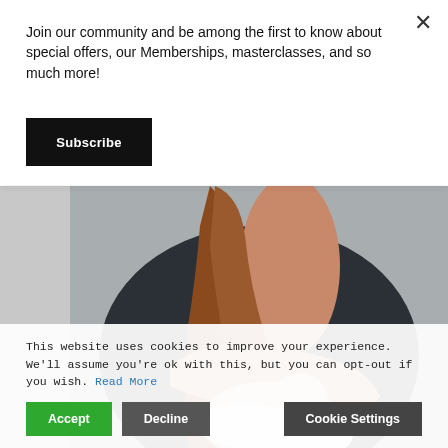Join our community and be among the first to know about special offers, our Memberships, masterclasses, and so much more!
Subscribe
[Figure (photo): Woman breastfeeding an infant, wearing a dark top, with long reddish-brown hair, against a gray background]
This website uses cookies to improve your experience. We'll assume you're ok with this, but you can opt-out if you wish. Read More
Accept
Decline
Cookie Settings